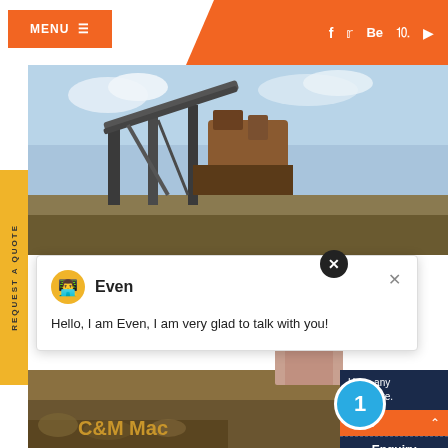MENU ≡  |  f  t  Be  ⊕  ▶
[Figure (screenshot): Mining/quarry machinery screenshot with conveyor belt and heavy equipment, hero banner image]
REQUEST A QUOTE
[Figure (screenshot): Chat popup with avatar icon and agent named Even saying: Hello, I am Even, I am very glad to talk with you!]
Even
Hello, I am Even, I am very glad to talk with you!
[Figure (photo): Person (customer support representative) photo on right side]
C&M Mac
Have any  click here.
Quot
1
Enquiry
drobilkalm
extraction of silica - ilgiardinosullagoit
silica sand extraction silica sand extraction X mining crushing machinery products or produ